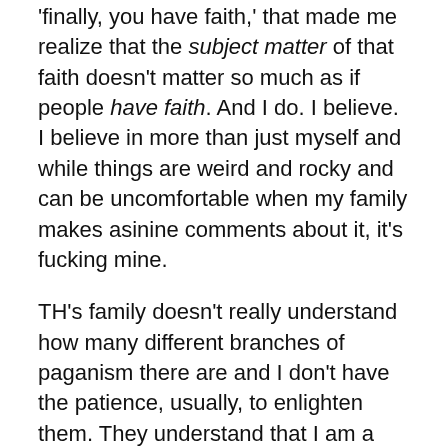'finally, you have faith,' that made me realize that the subject matter of that faith doesn't matter so much as if people have faith. And I do. I believe. I believe in more than just myself and while things are weird and rocky and can be uncomfortable when my family makes asinine comments about it, it's fucking mine.
TH's family doesn't really understand how many different branches of paganism there are and I don't have the patience, usually, to enlighten them. They understand that I am a pagan and that I do practice magic (heka), however they don't fully comprehend all the dynamic changes, on a personal level and on a spiritual level, that have happened since I first discovered this path. But at the end of the day, they're supportive. They might make jokes and TH's mom may end up using me as a threat against her students to behave properly (she told one student I would turn them